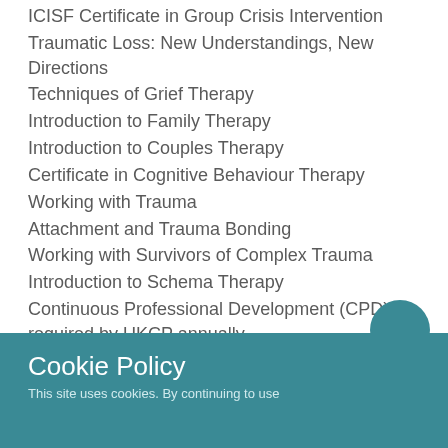ICISF Certificate in Group Crisis Intervention
Traumatic Loss: New Understandings, New Directions
Techniques of Grief Therapy
Introduction to Family Therapy
Introduction to Couples Therapy
Certificate in Cognitive Behaviour Therapy
Working with Trauma
Attachment and Trauma Bonding
Working with Survivors of Complex Trauma
Introduction to Schema Therapy
Continuous Professional Development (CPD) as required by UKCP annually
Cookie Policy